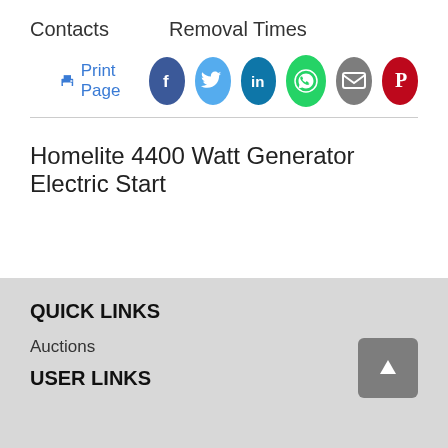Contacts    Removal Times
Print Page [social icons: Facebook, Twitter, LinkedIn, WhatsApp, Email, Pinterest]
Homelite 4400 Watt Generator Electric Start
QUICK LINKS
Auctions
USER LINKS